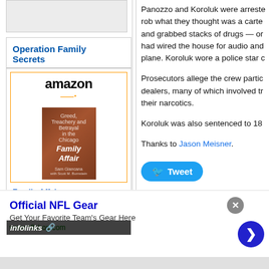Operation Family Secrets
[Figure (other): Amazon advertisement showing book 'Family Affair: Greed,...' priced at $7.99 with Prime badge and Shop now button]
Panozzo and Koroluk were arrested to rob what they thought was a cartel and grabbed stacks of drugs — one had wired the house for audio and plane. Koroluk wore a police star d
Prosecutors allege the crew participated dealers, many of which involved their narcotics.
Koroluk was also sentenced to 18
Thanks to Jason Meisner.
[Figure (other): Tweet button]
[Figure (other): Official NFL Gear advertisement with shop now arrow button, URL www.nflshop.com]